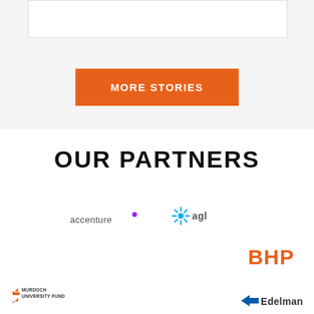[Figure (other): White rectangle box at top of page]
MORE STORIES
OUR PARTNERS
[Figure (logo): Accenture logo]
[Figure (logo): AGL logo with sunburst icon]
[Figure (logo): BHP logo in orange]
[Figure (logo): Murdoch University Fund logo]
[Figure (logo): Edelman logo with blue arrow]